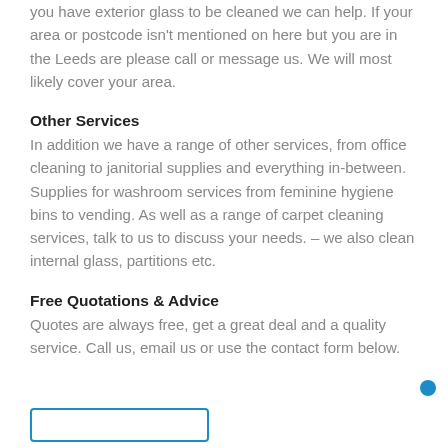you have exterior glass to be cleaned we can help. If your area or postcode isn't mentioned on here but you are in the Leeds are please call or message us. We will most likely cover your area.
Other Services
In addition we have a range of other services, from office cleaning to janitorial supplies and everything in-between. Supplies for washroom services from feminine hygiene bins to vending. As well as a range of carpet cleaning services, talk to us to discuss your needs. – we also clean internal glass, partitions etc.
Free Quotations & Advice
Quotes are always free, get a great deal and a quality service. Call us, email us or use the contact form below.